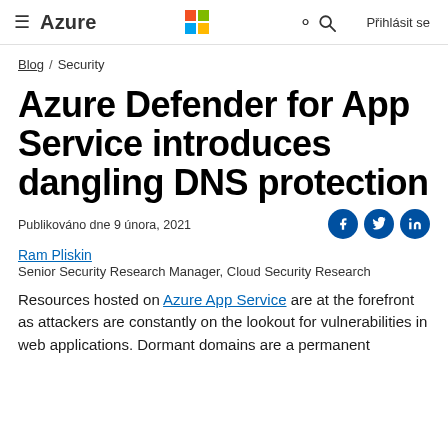≡ Azure | [Microsoft logo] | 🔍 | Přihlásit se
Blog / Security
Azure Defender for App Service introduces dangling DNS protection
Publikováno dne 9 února, 2021
Ram Pliskin
Senior Security Research Manager, Cloud Security Research
Resources hosted on Azure App Service are at the forefront as attackers are constantly on the lookout for vulnerabilities in web applications. Dormant domains are a permanent